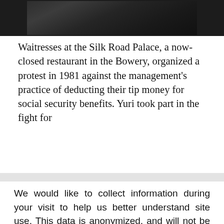[Figure (photo): Partial photograph showing a dark scene, partially cropped at the top of the page]
Waitresses at the Silk Road Palace, a now-closed restaurant in the Bowery, organized a protest in 1981 against the management's practice of deducting their tip money for social security benefits. Yuri took part in the fight for the tips to remain in sole control of the
We would like to collect information during your visit to help us better understand site use. This data is anonymized, and will not be used for marketing purposes. Read More on our Privacy Policy page. You can withdraw permission at any time or update your privacy settings here. Please choose below to continue.
Yes, I agree
No, Please do not